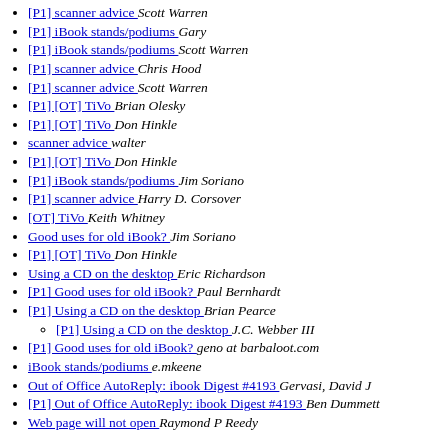[P1] scanner advice  Scott Warren
[P1] iBook stands/podiums  Gary
[P1] iBook stands/podiums  Scott Warren
[P1] scanner advice  Chris Hood
[P1] scanner advice  Scott Warren
[P1] [OT] TiVo  Brian Olesky
[P1] [OT] TiVo  Don Hinkle
scanner advice  walter
[P1] [OT] TiVo  Don Hinkle
[P1] iBook stands/podiums  Jim Soriano
[P1] scanner advice  Harry D. Corsover
[OT] TiVo  Keith Whitney
Good uses for old iBook?  Jim Soriano
[P1] [OT] TiVo  Don Hinkle
Using a CD on the desktop  Eric Richardson
[P1] Good uses for old iBook?  Paul Bernhardt
[P1] Using a CD on the desktop  Brian Pearce
[P1] Using a CD on the desktop  J.C. Webber III
[P1] Good uses for old iBook?  geno at barbaloot.com
iBook stands/podiums  e.mkeene
Out of Office AutoReply: ibook Digest #4193  Gervasi, David J
[P1] Out of Office AutoReply: ibook Digest #4193  Ben Dummett
Web page will not open  Raymond P Reedy